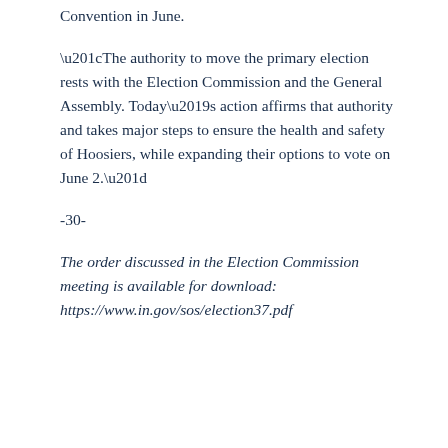Convention in June.
“The authority to move the primary election rests with the Election Commission and the General Assembly. Today’s action affirms that authority and takes major steps to ensure the health and safety of Hoosiers, while expanding their options to vote on June 2.”
-30-
The order discussed in the Election Commission meeting is available for download: https://www.in.gov/sos/election37.pdf